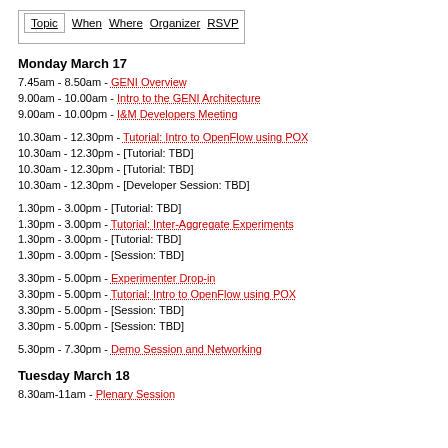Topic | When | Where | Organizer | RSVP
Monday March 17
7.45am - 8.50am - GENI Overview
9.00am - 10.00am - Intro to the GENI Architecture
9.00am - 10.00pm - I&M Developers Meeting
10.30am - 12.30pm - Tutorial: Intro to OpenFlow using POX
10.30am - 12.30pm - [Tutorial: TBD]
10.30am - 12.30pm - [Tutorial: TBD]
10.30am - 12.30pm - [Developer Session: TBD]
1.30pm - 3.00pm - [Tutorial: TBD]
1.30pm - 3.00pm - Tutorial: Inter-Aggregate Experiments
1.30pm - 3.00pm - [Tutorial: TBD]
1.30pm - 3.00pm - [Session: TBD]
3.30pm - 5.00pm - Experimenter Drop-in
3.30pm - 5.00pm - Tutorial: Intro to OpenFlow using POX
3.30pm - 5.00pm - [Session: TBD]
3.30pm - 5.00pm - [Session: TBD]
5.30pm - 7.30pm - Demo Session and Networking
Tuesday March 18
8.30am-11am - Plenary Session